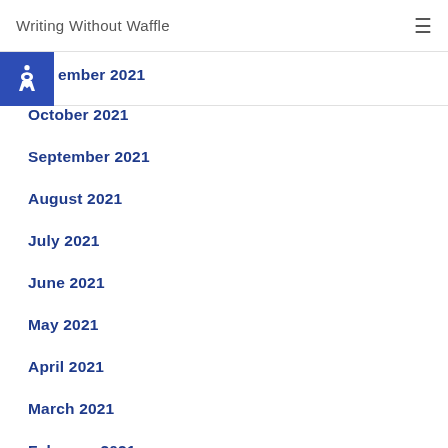Writing Without Waffle
ember 2021
October 2021
September 2021
August 2021
July 2021
June 2021
May 2021
April 2021
March 2021
February 2021